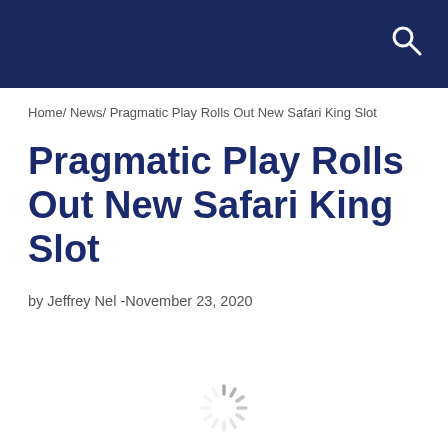Home/ News/ Pragmatic Play Rolls Out New Safari King Slot
Pragmatic Play Rolls Out New Safari King Slot
by Jeffrey Nel -November 23, 2020
[Figure (other): Loading spinner icon at bottom center of page]